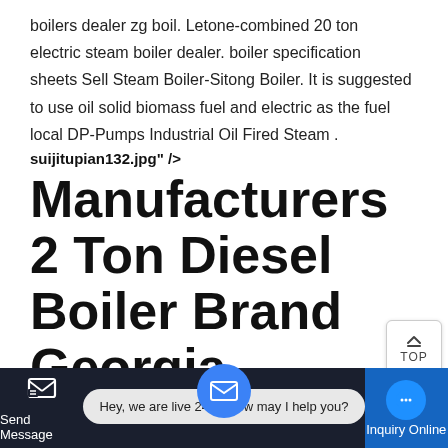boilers dealer zg boil. Letone-combined 20 ton electric steam boiler dealer. boiler specification sheets Sell Steam Boiler-Sitong Boiler. It is suggested to use oil solid biomass fuel and electric as the fuel local DP-Pumps Industrial Oil Fired Steam .
suijitupian132.jpg" />
Manufacturers 2 Ton Diesel Boiler Brand Georgia
Manufacturers 2 Ton Diesel Boiler Brand Georgia gas steam boiler,condensing boiler,condensing steam . For Sale 2t biomass boiler Industrial Myanmar. Myanmar gas fired steam boiler price or cost. 2t/h Biomass fired steam B Myanmar